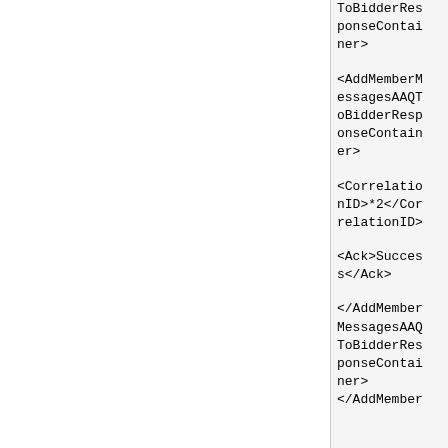ToBidderResponseContainer>

<AddMemberMessagesAAQToBidderResponseContainer>

<CorrelationID>*2</CorrelationID>

<Ack>Success</Ack>

</AddMemberMessagesAAQToBidderResponseContainer>
</AddMember